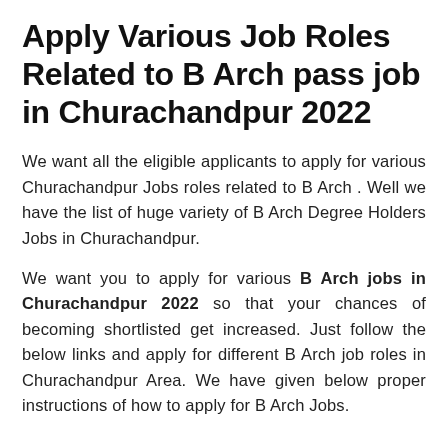Apply Various Job Roles Related to B Arch pass job in Churachandpur 2022
We want all the eligible applicants to apply for various Churachandpur Jobs roles related to B Arch . Well we have the list of huge variety of B Arch Degree Holders Jobs in Churachandpur.
We want you to apply for various B Arch jobs in Churachandpur 2022 so that your chances of becoming shortlisted get increased. Just follow the below links and apply for different B Arch job roles in Churachandpur Area. We have given below proper instructions of how to apply for B Arch Jobs.